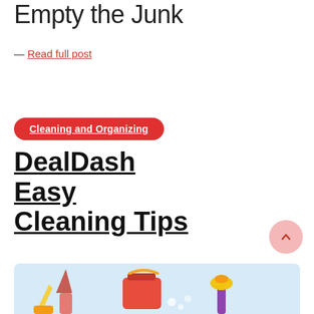Empty the Junk
— Read full post
Cleaning and Organizing
DealDash Easy Cleaning Tips
May 28, 2022  DealDash Reviews
[Figure (illustration): Colorful cleaning supplies illustration including a red bucket, mop, and other cleaning tools on a light blue background]